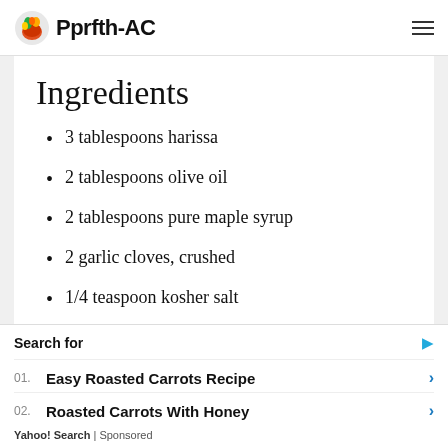Pprfth-AC
Ingredients
3 tablespoons harissa
2 tablespoons olive oil
2 tablespoons pure maple syrup
2 garlic cloves, crushed
1/4 teaspoon kosher salt
Search for
01.  Easy Roasted Carrots Recipe
02.  Roasted Carrots With Honey
Yahoo! Search | Sponsored